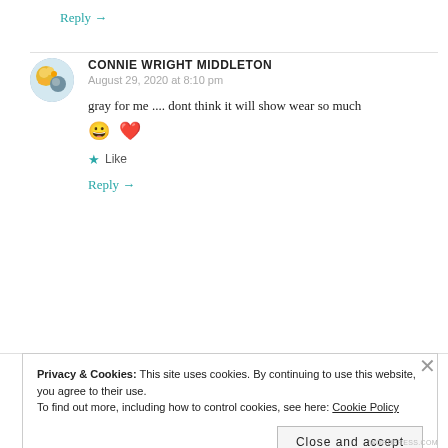Reply →
CONNIE WRIGHT MIDDLETON
August 29, 2020 at 8:10 pm
gray for me .... dont think it will show wear so much 😀 ❤
★ Like
Reply →
Privacy & Cookies: This site uses cookies. By continuing to use this website, you agree to their use. To find out more, including how to control cookies, see here: Cookie Policy
Close and accept